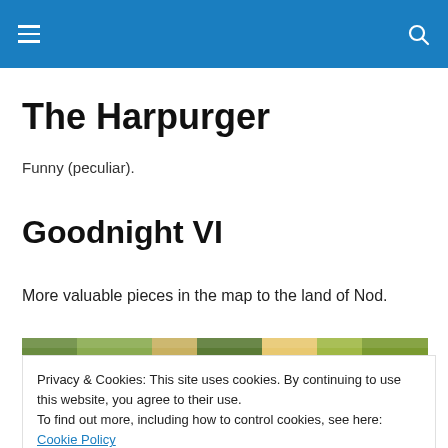≡  🔍
The Harpurger
Funny (peculiar).
Goodnight VI
More valuable pieces in the map to the land of Nod.
[Figure (photo): Colorful foliage/plant image strip at the top of an article]
Privacy & Cookies: This site uses cookies. By continuing to use this website, you agree to their use.
To find out more, including how to control cookies, see here: Cookie Policy
Close and accept
[Figure (photo): Colorful foliage/plant image strip at the bottom of an article]